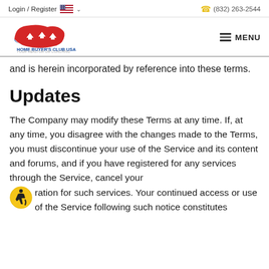Login / Register   (832) 263-2544
[Figure (logo): Home Buyer's Club USA logo with US map graphic and tagline]
and is herein incorporated by reference into these terms.
Updates
The Company may modify these Terms at any time. If, at any time, you disagree with the changes made to the Terms, you must discontinue your use of the Service and its content and forums, and if you have registered for any services through the Service, cancel your registration for such services. Your continued access or use of the Service following such notice constitutes